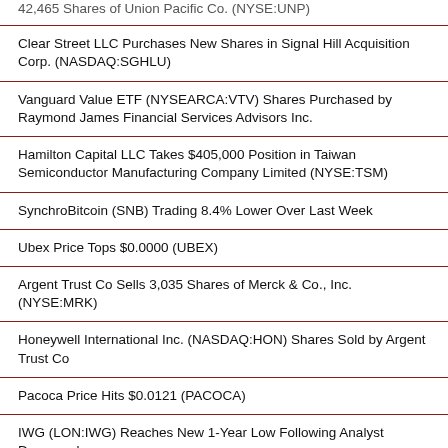42,465 Shares of Union Pacific Co. (NYSE:UNP)
Clear Street LLC Purchases New Shares in Signal Hill Acquisition Corp. (NASDAQ:SGHLU)
Vanguard Value ETF (NYSEARCA:VTV) Shares Purchased by Raymond James Financial Services Advisors Inc.
Hamilton Capital LLC Takes $405,000 Position in Taiwan Semiconductor Manufacturing Company Limited (NYSE:TSM)
SynchroBitcoin (SNB) Trading 8.4% Lower Over Last Week
Ubex Price Tops $0.0000 (UBEX)
Argent Trust Co Sells 3,035 Shares of Merck & Co., Inc. (NYSE:MRK)
Honeywell International Inc. (NASDAQ:HON) Shares Sold by Argent Trust Co
Pacoca Price Hits $0.0121 (PACOCA)
IWG (LON:IWG) Reaches New 1-Year Low Following Analyst Downgrade